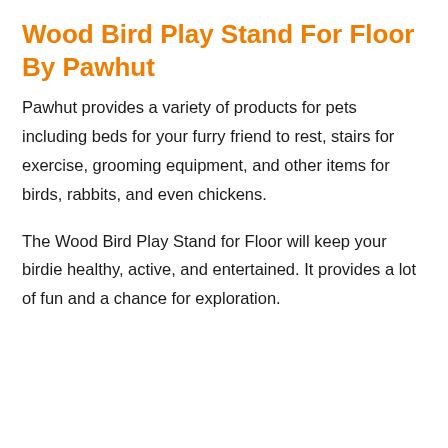Wood Bird Play Stand For Floor By Pawhut
Pawhut provides a variety of products for pets including beds for your furry friend to rest, stairs for exercise, grooming equipment, and other items for birds, rabbits, and even chickens.
The Wood Bird Play Stand for Floor will keep your birdie healthy, active, and entertained. It provides a lot of fun and a chance for exploration.